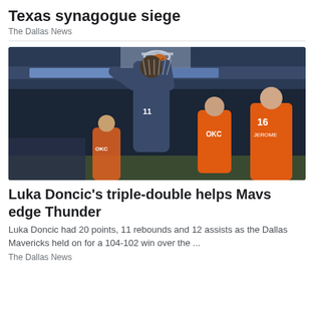Texas synagogue siege
The Dallas News
[Figure (photo): NBA basketball game action photo: A Dallas Mavericks player wearing number 11 dunks the ball while Oklahoma City Thunder players in orange jerseys (including number 16, Jerome) watch from below. The arena is full of spectators.]
Luka Doncic's triple-double helps Mavs edge Thunder
Luka Doncic had 20 points, 11 rebounds and 12 assists as the Dallas Mavericks held on for a 104-102 win over the ...
The Dallas News